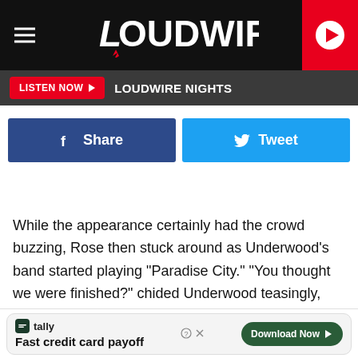LOUDWIRE
LISTEN NOW  LOUDWIRE NIGHTS
[Figure (screenshot): Facebook Share button and Twitter Tweet button side by side]
While the appearance certainly had the crowd buzzing, Rose then stuck around as Underwood's band started playing "Paradise City." "You thought we were finished?" chided Underwood teasingly, before the two singers traded off lyrics on the GN'R classic.
As Ultimate Classic Rock pointed out, Underwood has profes                                                         n in a
[Figure (screenshot): Tally app advertisement banner: Fast credit card payoff, Download Now button]